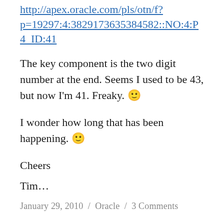http://apex.oracle.com/pls/otn/f?p=19297:4:38291736353845822::NO:4:P4_ID:41
The key component is the two digit number at the end. Seems I used to be 43, but now I'm 41. Freaky. 🙂
I wonder how long that has been happening. 🙂
Cheers
Tim…
January 29, 2010  /  Oracle  /  3 Comments
Let me search the Oracle